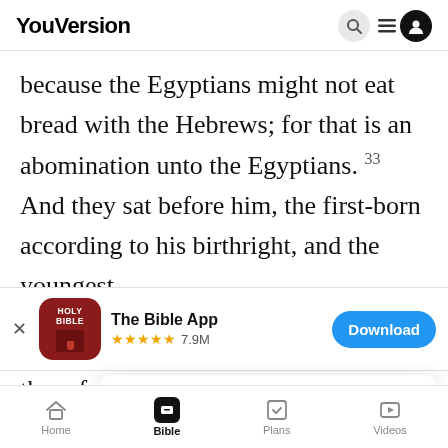YouVersion
because the Egyptians might not eat bread with the Hebrews; for that is an abomination unto the Egyptians. 33 And they sat before him, the first-born according to his birthright, and the youngest
[Figure (screenshot): The Bible App download banner with Holy Bible icon, 5-star rating 7.9M reviews, and Download button]
them fr
five tim
YouVersion uses cookies to personalize your experience. By using our website, you accept our use of cookies as described in our Privacy Policy.
Home  Bible  Plans  Videos